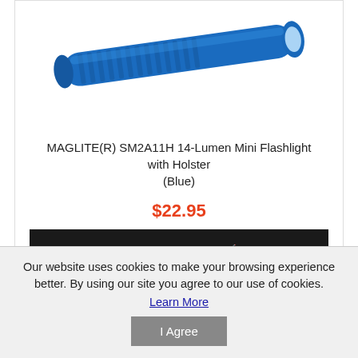[Figure (photo): Blue MAGLITE mini flashlight shown diagonally, metallic blue cylindrical body with knurled grip]
MAGLITE(R) SM2A11H 14-Lumen Mini Flashlight with Holster (Blue)
$22.95
ADD TO CART
Our website uses cookies to make your browsing experience better. By using our site you agree to our use of cookies.
Learn More
I Agree